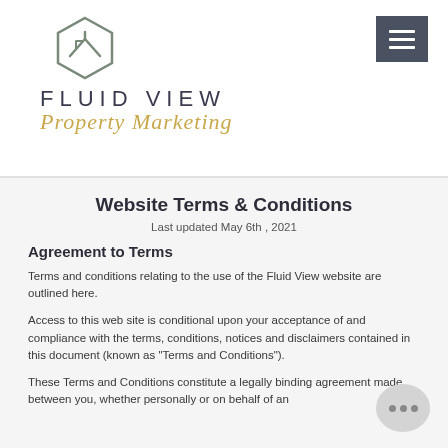[Figure (logo): Fluid View Property Marketing logo with hexagonal house icon above the text 'FLUID VIEW' in spaced sans-serif and 'Property Marketing' in gold italic script]
Website Terms & Conditions
Last updated May 6th , 2021
Agreement to Terms
Terms and conditions relating to the use of the Fluid View website are outlined here.
Access to this web site is conditional upon your acceptance of and compliance with the terms, conditions, notices and disclaimers contained in this document (known as "Terms and Conditions").
These Terms and Conditions constitute a legally binding agreement made between you, whether personally or on behalf of an